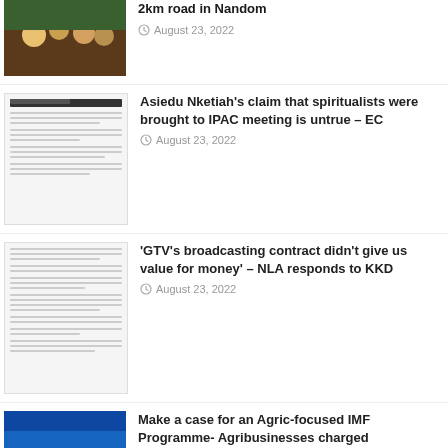[Figure (photo): News article thumbnail - group photo outdoors]
2km road in Nandom
August 23, 2022
[Figure (photo): Document screenshot - EC statement about IPAC meeting]
Asiedu Nketiah's claim that spiritualists were brought to IPAC meeting is untrue – EC
August 23, 2022
[Figure (photo): Document screenshot - GTV broadcasting contract text]
'GTV's broadcasting contract didn't give us value for money' – NLA responds to KKD
August 23, 2022
[Figure (photo): Blue presentation slide with circular graphic - IMF programme]
Make a case for an Agric-focused IMF Programme- Agribusinesses charged
August 23, 2022